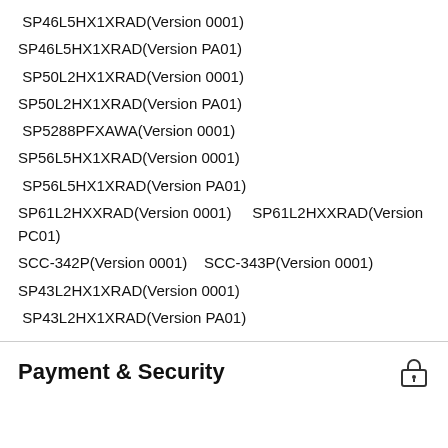SP46L5HX1XRAD(Version 0001)
SP46L5HX1XRAD(Version PA01)
SP50L2HX1XRAD(Version 0001)
SP50L2HX1XRAD(Version PA01)
SP5288PFXAWA(Version 0001)
SP56L5HX1XRAD(Version 0001)
SP56L5HX1XRAD(Version PA01)
SP61L2HXXRAD(Version 0001)    SP61L2HXXRAD(Version PC01)
SCC-342P(Version 0001)    SCC-343P(Version 0001)
SP43L2HX1XRAD(Version 0001)
SP43L2HX1XRAD(Version PA01)
Payment & Security